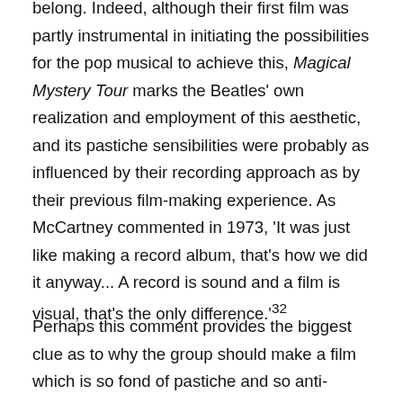belong. Indeed, although their first film was partly instrumental in initiating the possibilities for the pop musical to achieve this, Magical Mystery Tour marks the Beatles' own realization and employment of this aesthetic, and its pastiche sensibilities were probably as influenced by their recording approach as by their previous film-making experience. As McCartney commented in 1973, 'It was just like making a record album, that's how we did it anyway... A record is sound and a film is visual, that's the only difference.'32
Perhaps this comment provides the biggest clue as to why the group should make a film which is so fond of pastiche and so anti-institutional in its narrative form